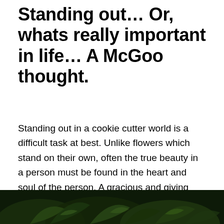Standing out… Or, whats really important in life… A McGoo thought.
Standing out in a cookie cutter world is a difficult task at best. Unlike flowers which stand on their own, often the true beauty in a person must be found in the heart and soul of the person. A gracious and giving heart combined with a soul to match is a combination that no physical attributes can measure up to. The heart and soul are real and run deep, whereas looks alone are shallow and meaningless. Unfortunately in today's world it is not uncommon to overlook the heart and soul and go for the physical attributes instead. How sad.
[Figure (photo): Dark photograph showing green leaves/foliage against a very dark background, partially cropped at bottom of page]